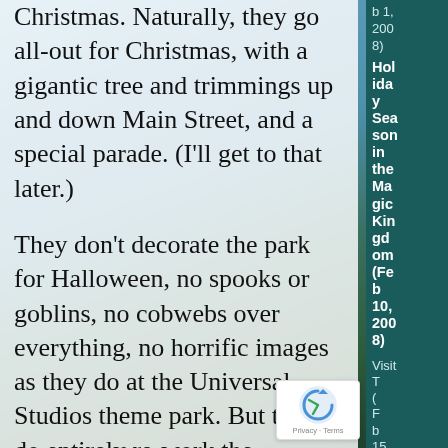Christmas. Naturally, they go all-out for Christmas, with a gigantic tree and trimmings up and down Main Street, and a special parade. (I'll get to that later.)
They don't decorate the park for Halloween, no spooks or goblins, no cobwebs over everything, no horrific images as they do at the Universal Studios theme park. But they do entirely re-work the Haunted Mansion ride with the theme of The Nightmare Before Christmas, that Tim Burton stop-motion animation from 1993 that has by now earned classic status. (It doesn't take
b 1, 2008)
Holiday Season in the Magic Kingdom (Feb 10, 2008)
Visit
[Figure (other): reCAPTCHA badge with logo and Privacy - Terms text]